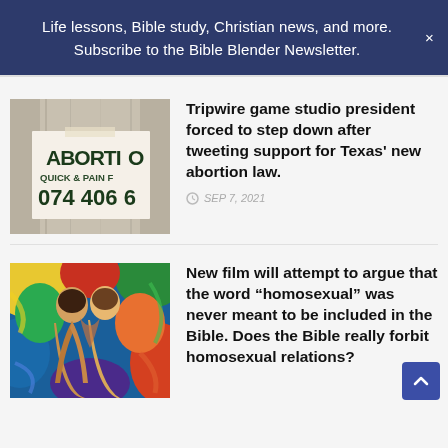Life lessons, Bible study, Christian news, and more. Subscribe to the Bible Blender Newsletter.
[Figure (photo): Photo of an abortion advertisement flyer attached to a pole, text reads: ABORT­IO­N, QUICK & PAIN F[ree], 074 406 6[xxx]]
Tripwire game studio president forced to step down after tweeting support for Texas' new abortion law.
SEP 7, 2021
[Figure (photo): Colorful expressionist painting of two figures embracing, with vibrant blues, yellows, reds and greens in background]
New film will attempt to argue that the word “homosexual” was never meant to be included in the Bible. Does the Bible really forbit homosexual relations?